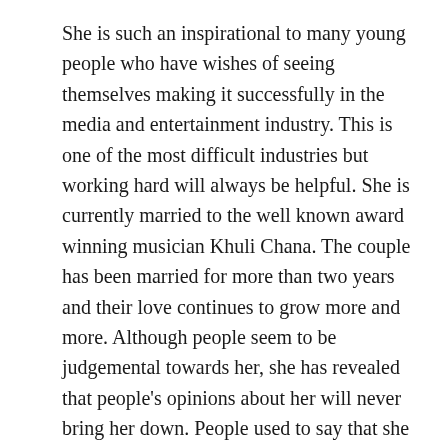She is such an inspirational to many young people who have wishes of seeing themselves making it successfully in the media and entertainment industry. This is one of the most difficult industries but working hard will always be helpful. She is currently married to the well known award winning musician Khuli Chana. The couple has been married for more than two years and their love continues to grow more and more. Although people seem to be judgemental towards her, she has revealed that people's opinions about her will never bring her down. People used to say that she is not good enough for her husband and others would body shame her.
She inspires many people to be not shaken when they are being bullied. The country knows her as the woman who is always ready to tell her mind and set the record straight. She is known as the...